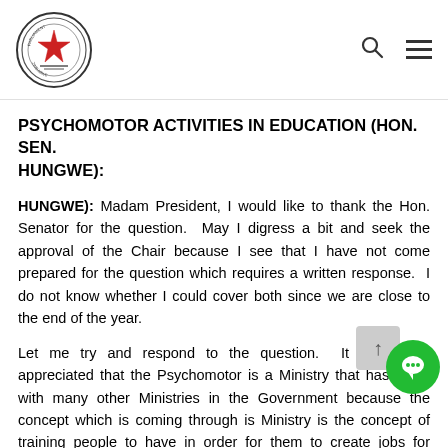Parliament of Zimbabwe
PSYCHOMOTOR ACTIVITIES IN EDUCATION (HON. SEN. HUNGWE):
Madam President, I would like to thank the Hon. Senator for the question. May I digress a bit and seek the approval of the Chair because I see that I have not come prepared for the question which requires a written response. I do not know whether I could cover both since we are close to the end of the year.
Let me try and respond to the question. It should be appreciated that the Psychomotor is a Ministry that has to do with many other Ministries in the Government because the concept which is coming through is Ministry is the concept of training people to have in order for them to create jobs for themselves. There are